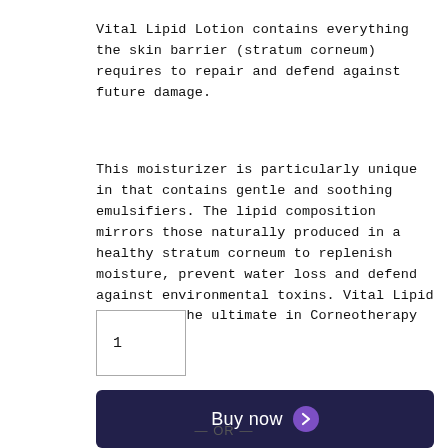Vital Lipid Lotion contains everything the skin barrier (stratum corneum) requires to repair and defend against future damage.
This moisturizer is particularly unique in that contains gentle and soothing emulsifiers. The lipid composition mirrors those naturally produced in a healthy stratum corneum to replenish moisture, prevent water loss and defend against environmental toxins. Vital Lipid Lotion is the ultimate in Corneotherapy skin care.
1
Buy now
— OR —